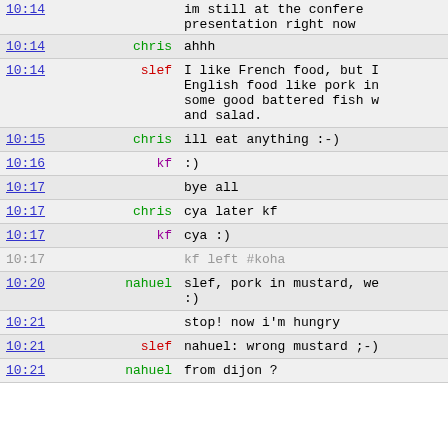| time | nick | message |
| --- | --- | --- |
| 10:14 |  | presentation right now |
| 10:14 | chris | ahhh |
| 10:14 | slef | I like French food, but I English food like pork in some good battered fish wi and salad. |
| 10:15 | chris | ill eat anything :-) |
| 10:16 | kf | :) |
| 10:17 |  | bye all |
| 10:17 | chris | cya later kf |
| 10:17 | kf | cya :) |
| 10:17 |  | kf left #koha |
| 10:20 | nahuel | slef, pork in mustard, we :) |
| 10:21 |  | stop! now i'm hungry |
| 10:21 | slef | nahuel: wrong mustard ;-) |
| 10:21 | nahuel | from dijon ? |